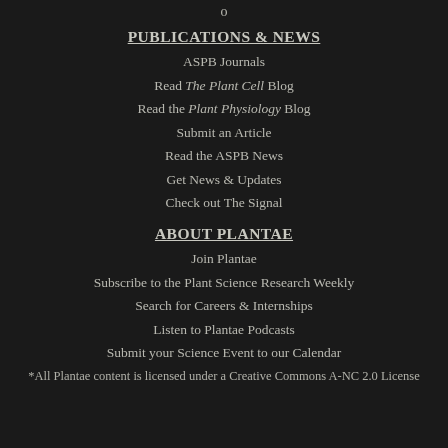o
PUBLICATIONS & NEWS
ASPB Journals
Read The Plant Cell Blog
Read the Plant Physiology Blog
Submit an Article
Read the ASPB News
Get News & Updates
Check out The Signal
ABOUT PLANTAE
Join Plantae
Subscribe to the Plant Science Research Weekly
Search for Careers & Internships
Listen to Plantae Podcasts
Submit your Science Event to our Calendar
*All Plantae content is licensed under a Creative Commons A-NC 2.0 License